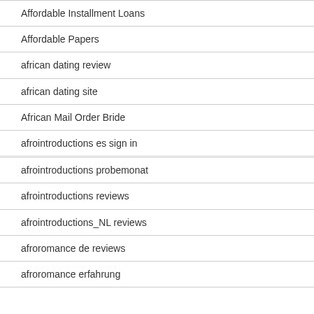Affordable Installment Loans
Affordable Papers
african dating review
african dating site
African Mail Order Bride
afrointroductions es sign in
afrointroductions probemonat
afrointroductions reviews
afrointroductions_NL reviews
afroromance de reviews
afroromance erfahrung